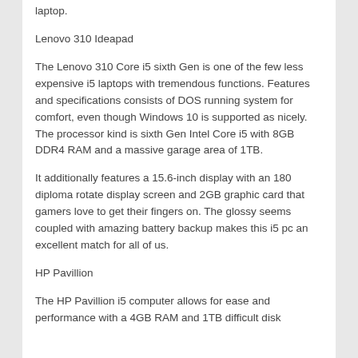laptop.
Lenovo 310 Ideapad
The Lenovo 310 Core i5 sixth Gen is one of the few less expensive i5 laptops with tremendous functions. Features and specifications consists of DOS running system for comfort, even though Windows 10 is supported as nicely. The processor kind is sixth Gen Intel Core i5 with 8GB DDR4 RAM and a massive garage area of 1TB.
It additionally features a 15.6-inch display with an 180 diploma rotate display screen and 2GB graphic card that gamers love to get their fingers on. The glossy seems coupled with amazing battery backup makes this i5 pc an excellent match for all of us.
HP Pavillion
The HP Pavillion i5 computer allows for ease and performance with a 4GB RAM and 1TB difficult disk